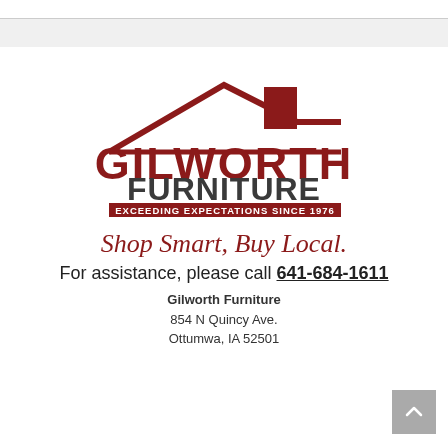[Figure (logo): Gilworth Furniture logo: house outline with chimney in dark red, company name GILWORTH FURNITURE in large bold letters (dark red and dark gray), tagline EXCEEDING EXPECTATIONS SINCE 1976 on dark red bar]
Shop Smart, Buy Local.
For assistance, please call 641-684-1611
Gilworth Furniture
854 N Quincy Ave.
Ottumwa, IA 52501